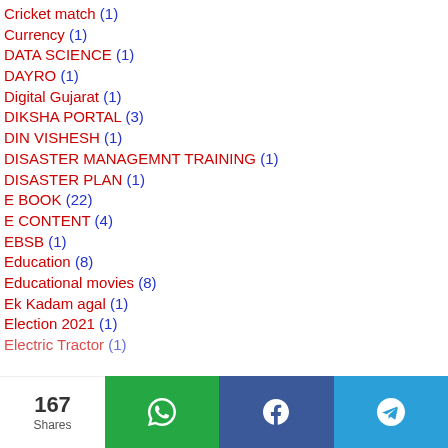Cricket match (1)
Currency (1)
DATA SCIENCE (1)
DAYRO (1)
Digital Gujarat (1)
DIKSHA PORTAL (3)
DIN VISHESH (1)
DISASTER MANAGEMNT TRAINING (1)
DISASTER PLAN (1)
E BOOK (22)
E CONTENT (4)
EBSB (1)
Education (8)
Educational movies (8)
Ek Kadam agal (1)
Election 2021 (1)
Electric Tractor (1)